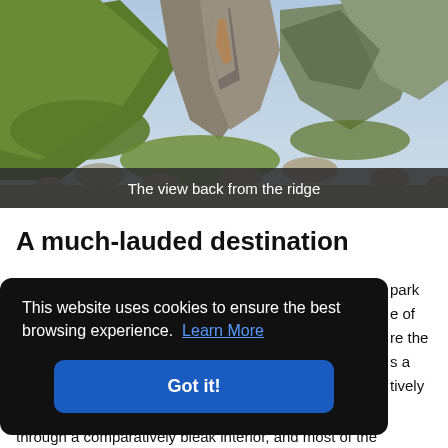[Figure (photo): Mountain ridge view showing green grassy slopes with rocky outcroppings, steep cliffs with exposed rock faces, and scattered boulders under a blue sky.]
The view back from the ridge
A much-lauded destination
This website uses cookies to ensure the best browsing experience.  Learn More
Got it!
park e of re the s a tively
through a comparatively bleak interior, and most of the